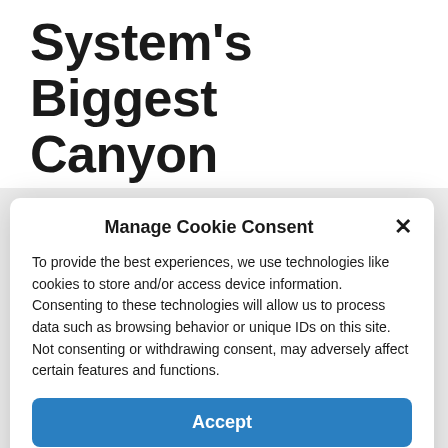Views of The Solar System's Biggest Canyon
July 23, 2022 by admin
Manage Cookie Consent
To provide the best experiences, we use technologies like cookies to store and/or access device information. Consenting to these technologies will allow us to process data such as browsing behavior or unique IDs on this site. Not consenting or withdrawing consent, may adversely affect certain features and functions.
Accept
Cookie Policy